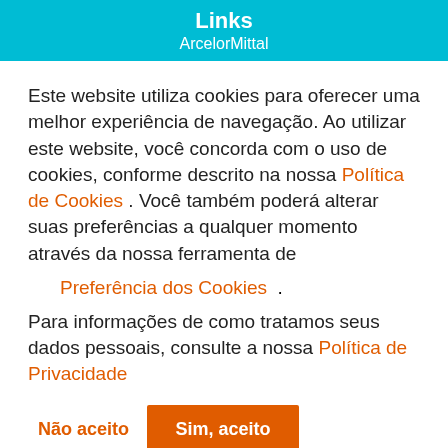Links
ArcelorMittal
Este website utiliza cookies para oferecer uma melhor experiência de navegação. Ao utilizar este website, você concorda com o uso de cookies, conforme descrito na nossa Política de Cookies . Você também poderá alterar suas preferências a qualquer momento através da nossa ferramenta de
Preferência dos Cookies .
Para informações de como tratamos seus dados pessoais, consulte a nossa Política de Privacidade
Não aceito   Sim, aceito